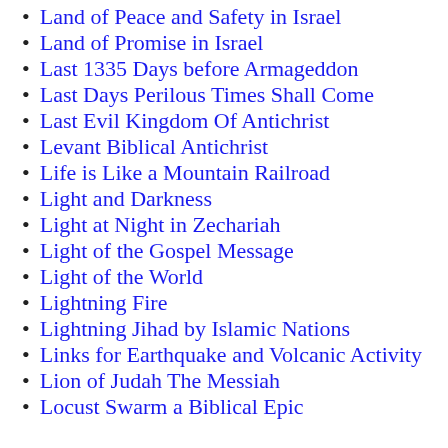Land of Peace and Safety in Israel
Land of Promise in Israel
Last 1335 Days before Armageddon
Last Days Perilous Times Shall Come
Last Evil Kingdom Of Antichrist
Levant Biblical Antichrist
Life is Like a Mountain Railroad
Light and Darkness
Light at Night in Zechariah
Light of the Gospel Message
Light of the World
Lightning Fire
Lightning Jihad by Islamic Nations
Links for Earthquake and Volcanic Activity
Lion of Judah The Messiah
Locust Swarm a Biblical Epic